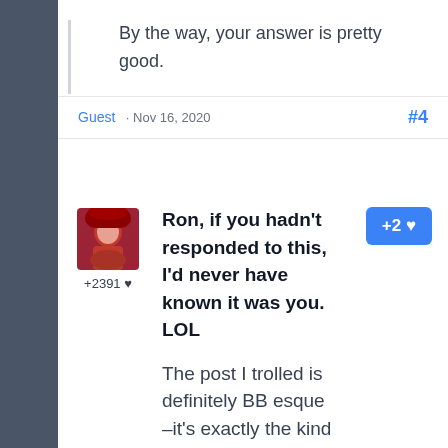By the way, your answer is pretty good.
Guest · Nov 16, 2020  #4
[Figure (photo): User avatar showing a person in a red costume or outfit]
+2391 ♥
+2 ♥
Ron, if you hadn't responded to this, I'd never have known it was you. LOL
The post I trolled is definitely BB esque –it's exactly the kind of post that at least two of